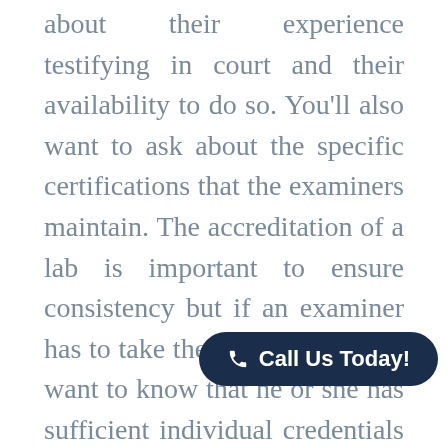about their experience testifying in court and their availability to do so. You'll also want to ask about the specific certifications that the examiners maintain. The accreditation of a lab is important to ensure consistency but if an examiner has to take the stand, you'll also want to know that he or she has sufficient individual credentials as well.

If you're considering hiring a private digital crime lab to support your department, contact Flashback Data. We work with law enforcement agencies around the country and the dedicated expertise...